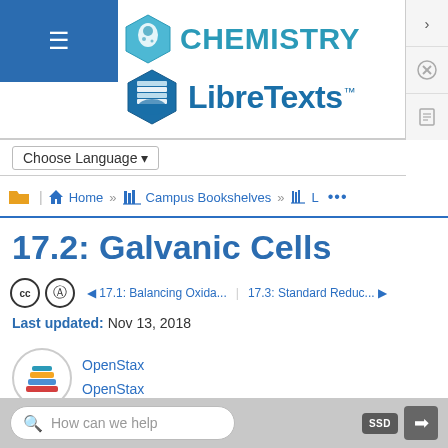[Figure (logo): Chemistry LibreTexts logo with hexagonal flask icon and book stack icon]
Choose Language ▾
Home » Campus Bookshelves » L …
17.2: Galvanic Cells
◄ 17.1: Balancing Oxida... | 17.3: Standard Reduc... ►
Last updated: Nov 13, 2018
OpenStax
OpenStax
How can we help